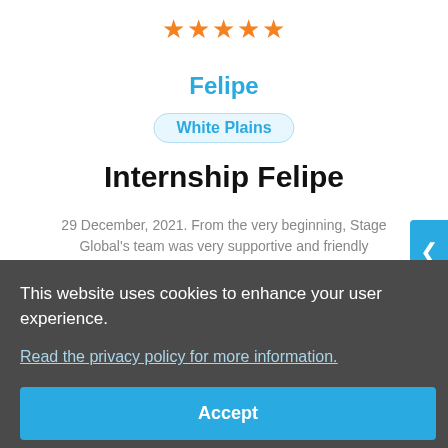[Figure (other): Five orange star rating icons]
Felipe
White Plains
Internship Felipe
29 December, 2021. From the very beginning, Stage Global's team was very supportive and friendly
This website uses cookies to enhance your user experience.
Read the privacy policy for more information.
Accept